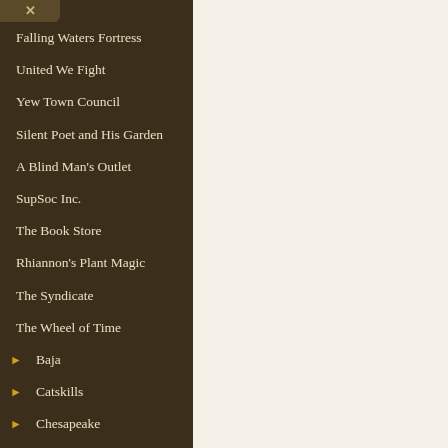Falling Waters Fortress
United We Fight
Yew Town Council
Silent Poet and His Garden
A Blind Man's Outlet
SupSoc Inc.
The Book Store
Rhiannon's Plant Magic
The Syndicate
The Wheel of Time
▶ Baja
▶ Catskills
▶ Chesapeake
▶ Drachenfels
▶ Europa
▶ Great Lakes
▶ Lake Austin